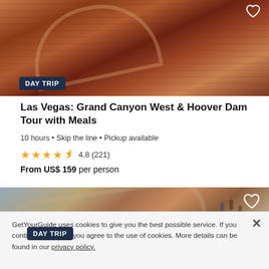[Figure (photo): Aerial view of Grand Canyon West skywalk with red rock canyon walls in the background]
DAY TRIP
Las Vegas: Grand Canyon West & Hoover Dam Tour with Meals
10 hours • Skip the line • Pickup available
4.8 (221)
From US$ 159 per person
[Figure (photo): People walking on the Grand Canyon Skywalk glass bridge]
DAY TRIP
GetYourGuide uses cookies to give you the best possible service. If you continue browsing, you agree to the use of cookies. More details can be found in our privacy policy.